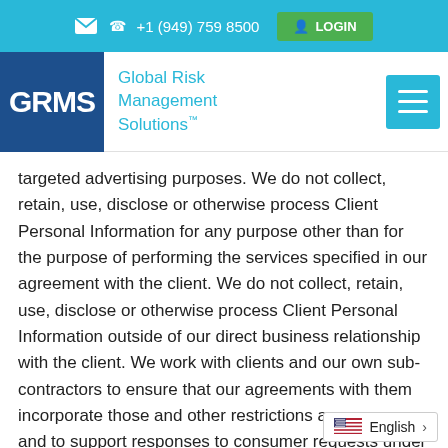✉ ☎ +1 (949) 759 8500  LOGIN
[Figure (logo): GRMS Global Risk Management Solutions logo — dark blue square with white GRMS text, followed by teal 'Global Risk Management Solutions' brand name]
targeted advertising purposes. We do not collect, retain, use, disclose or otherwise process Client Personal Information for any purpose other than for the purpose of performing the services specified in our agreement with the client. We do not collect, retain, use, disclose or otherwise process Client Personal Information outside of our direct business relationship with the client. We work with clients and our own sub-contractors to ensure that our agreements with them incorporate those and other restrictions as necessary, and to support responses to consumer requests under the CCPA or applicable federal law.
[Figure (infographic): Language selector showing US flag and 'English' with right arrow chevron]